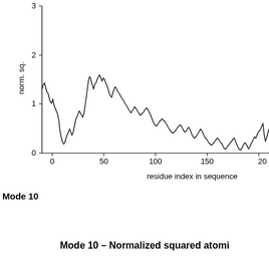[Figure (continuous-plot): Line plot showing normalized squared atomic fluctuations vs residue index in sequence for Mode 10. The curve starts high (~1.3) near residue -10, drops, rises to a peak of ~1.6 around residue 25, then drops to near zero, with small undulations (~0.3 max) across residues 50-200, and a small spike near residue 200. Y-axis labeled 'norm. sq.' with ticks at 0, 1, 2, 3. X-axis labeled 'residue index in sequence' with ticks at 0, 50, 100, 150, 200.]
Mode 10
Mode 10 – Normalized squared atomi